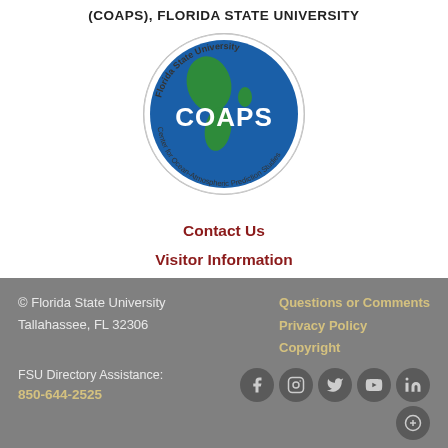(COAPS), FLORIDA STATE UNIVERSITY
[Figure (logo): COAPS circular logo showing globe with text 'Florida State University' around border and 'COAPS' in white text in center, with 'Center for Ocean-Atmospheric Prediction Studies' around bottom]
Contact Us
Visitor Information
Support COAPS
Disclaimer
Sitemap
© Florida State University
Tallahassee, FL 32306

FSU Directory Assistance:
850-644-2525

Questions or Comments
Privacy Policy
Copyright